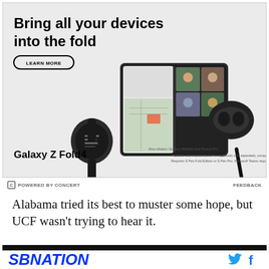[Figure (photo): Samsung Galaxy Z Fold4 advertisement showing the foldable phone open with a video call, alongside a Galaxy Watch5 and Buds2 Pro. Headline: 'Bring all your devices into the fold' with a Learn More button.]
POWERED BY CONCERT
FEEDBACK
Alabama tried its best to muster some hope, but UCF wasn't trying to hear it.
[Figure (logo): SBNation logo in blue italic bold text, with Twitter and Facebook social icons on the right]